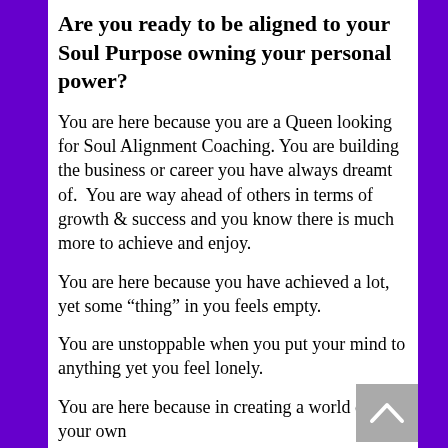Are you ready to be aligned to your Soul Purpose owning your personal power?
You are here because you are a Queen looking for Soul Alignment Coaching. You are building the business or career you have always dreamt of.  You are way ahead of others in terms of growth & success and you know there is much more to achieve and enjoy.
You are here because you have achieved a lot, yet some “thing” in you feels empty.
You are unstoppable when you put your mind to anything yet you feel lonely.
You are here because in creating a world of your own